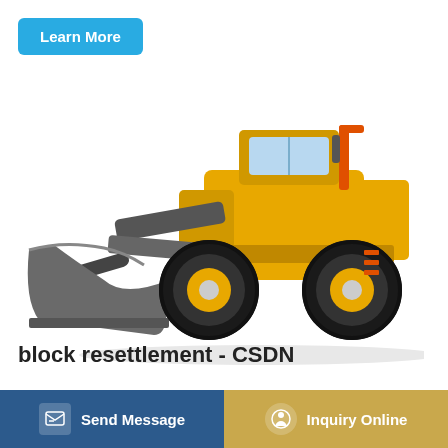Learn More
[Figure (photo): Yellow Volvo wheel loader / front loader machine with large grey bucket attachment, shown on white background]
block resettlement - CSDN
csdnblock resettlement,block resettlement  ,block resettlement,block resettlement,block resettlem...
Send Message
Inquiry Online